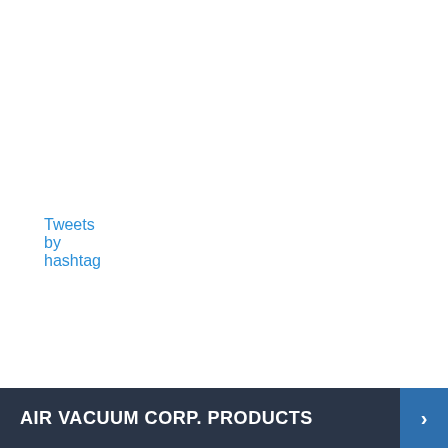Tweets by hashtag
AIR VACUUM CORP. PRODUCTS